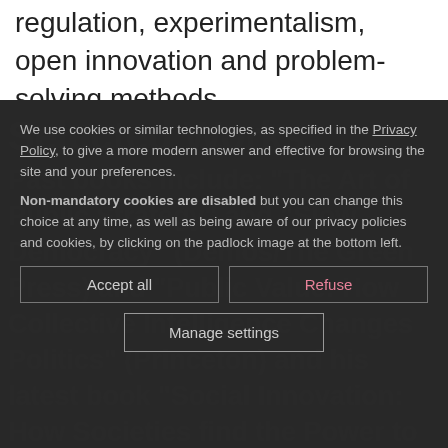regulation, experimentalism, open innovation and problem-solving methods.
We use cookies or similar technologies, as specified in the Privacy Policy, to give a more modern answer and effective for browsing the site and your preferences.
Non-mandatory cookies are disabled but you can change this choice at any time, as well as being aware of our privacy policies and cookies, by clicking on the padlock image at the bottom left.
Past books include: "The Art of Public Strategy" and "Slow Democracy" (Demos/The Green Press) and "Public Value: How Collective Intelligence Changes Politics" (Princeton) and his latest book "Social Innovation: How Societies find the Power to Change" was published in late 2019 by Policy Press.